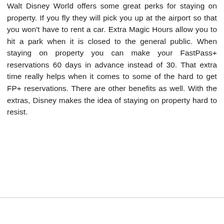Walt Disney World offers some great perks for staying on property. If you fly they will pick you up at the airport so that you won't have to rent a car. Extra Magic Hours allow you to hit a park when it is closed to the general public. When staying on property you can make your FastPass+ reservations 60 days in advance instead of 30. That extra time really helps when it comes to some of the hard to get FP+ reservations. There are other benefits as well. With the extras, Disney makes the idea of staying on property hard to resist.